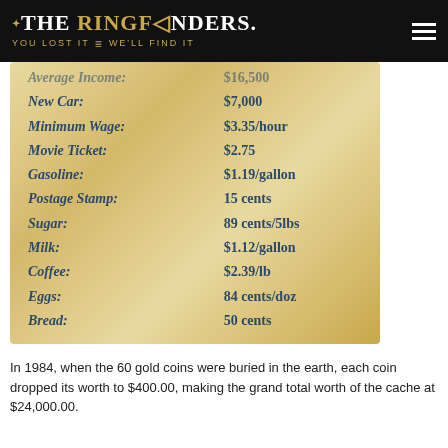THE RINGFINDERS. YOU LOST IT WE'LL FIND IT
[Figure (other): Parchment-style list of 1984 prices including Average Income, New Car, Minimum Wage, Movie Ticket, Gasoline, Postage Stamp, Sugar, Milk, Coffee, Eggs, Bread]
In 1984, when the 60 gold coins were buried in the earth, each coin dropped its worth to $400.00, making the grand total worth of the cache at $24,000.00.